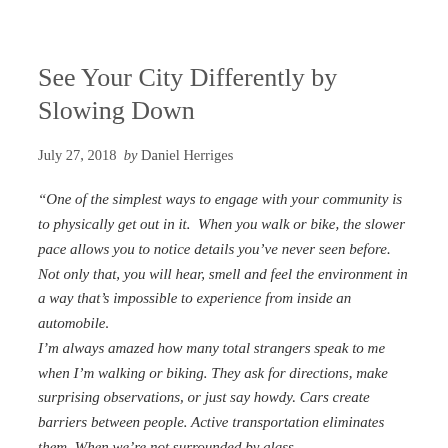See Your City Differently by Slowing Down
July 27, 2018  by Daniel Herriges
“One of the simplest ways to engage with your community is to physically get out in it.  When you walk or bike, the slower pace allows you to notice details you’ve never seen before. Not only that, you will hear, smell and feel the environment in a way that’s impossible to experience from inside an automobile.
I’m always amazed how many total strangers speak to me when I’m walking or biking. They ask for directions, make surprising observations, or just say howdy. Cars create barriers between people. Active transportation eliminates them. When we’re not surrounded by glass